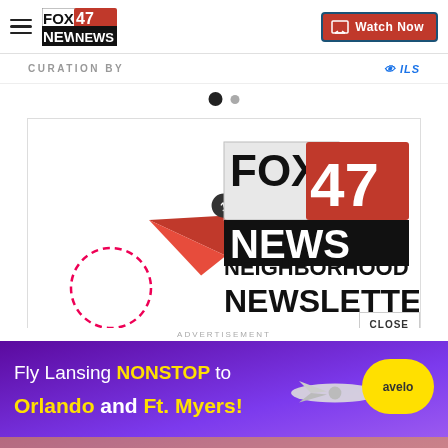[Figure (logo): FOX47 NEWS logo in top navigation bar with hamburger menu and Watch Now button]
CURATION BY
[Figure (illustration): Pagination dots: one large filled dot and one smaller dot]
[Figure (screenshot): FOX47 NEWS Neighborhood Newsletter promotional image with paper airplane graphic and dashed circle]
CLOSE
ADVERTISEMENT
[Figure (illustration): Advertisement banner: Fly Lansing NONSTOP to Orlando and Ft. Myers! with purple background, airplane graphic and Avelo airline logo]